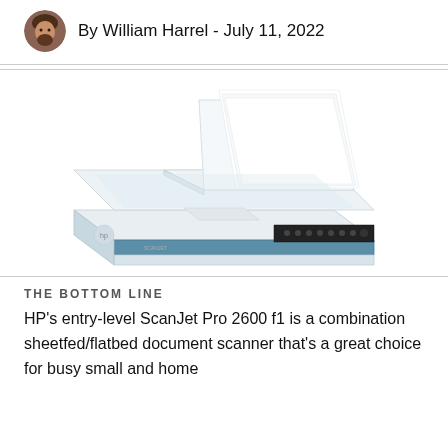By William Harrel - July 11, 2022
[Figure (photo): HP ScanJet Pro 2600 f1 flatbed/sheetfed document scanner, white and blue, with automatic document feeder open showing paper stack, and control panel with buttons on the front right.]
THE BOTTOM LINE
HP's entry-level ScanJet Pro 2600 f1 is a combination sheetfed/flatbed document scanner that's a great choice for busy small and home